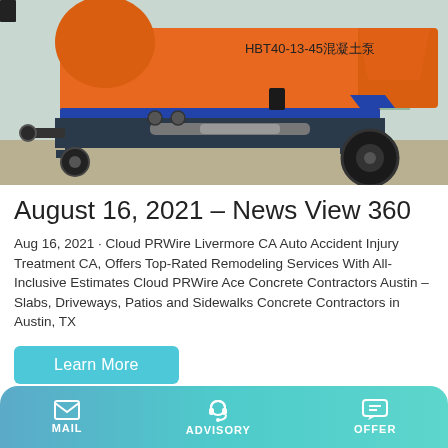[Figure (photo): Orange concrete pump truck (HBT40-13-45混凝土泵) with blue stripe, on a gravel area, with a building visible in background]
August 16, 2021 – News View 360
Aug 16, 2021 · Cloud PRWire Livermore CA Auto Accident Injury Treatment CA, Offers Top-Rated Remodeling Services With All-Inclusive Estimates Cloud PRWire Ace Concrete Contractors Austin – Slabs, Driveways, Patios and Sidewalks Concrete Contractors in Austin, TX
Learn More
MAIL   ADVISORY   OFFER